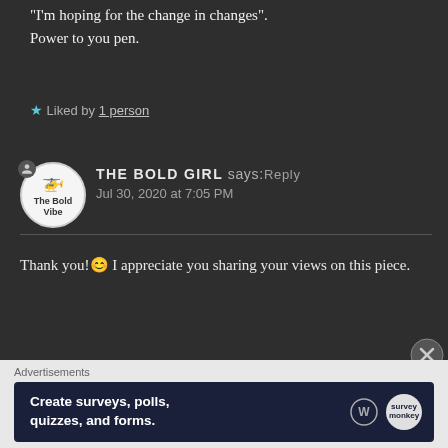“I’m hoping for the change in changes”. Power to you pen.
★ Liked by 1 person
THE BOLD GIRL says: Reply
Jul 30, 2020 at 7:05 PM
Thank you!😊 I appreciate you sharing your views on this piece.
Advertisements
[Figure (screenshot): Advertisement banner: Create surveys, polls, quizzes, and forms. Dark navy background with WordPress and SurveyMonkey logos.]